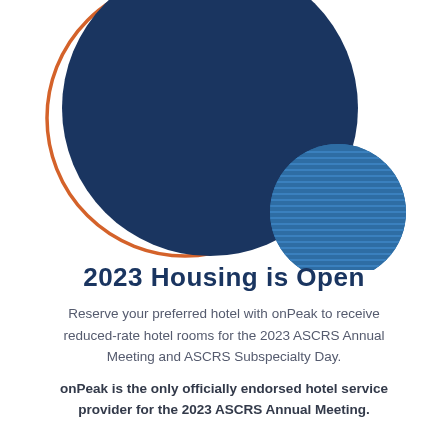[Figure (illustration): Decorative graphic with overlapping circles: a large dark navy blue filled circle in the center, an orange arc circle outline behind/overlapping it on the left side, and a medium blue circle with horizontal striped texture on the lower right.]
2023 Housing is Open
Reserve your preferred hotel with onPeak to receive reduced-rate hotel rooms for the 2023 ASCRS Annual Meeting and ASCRS Subspecialty Day.
onPeak is the only officially endorsed hotel service provider for the 2023 ASCRS Annual Meeting.